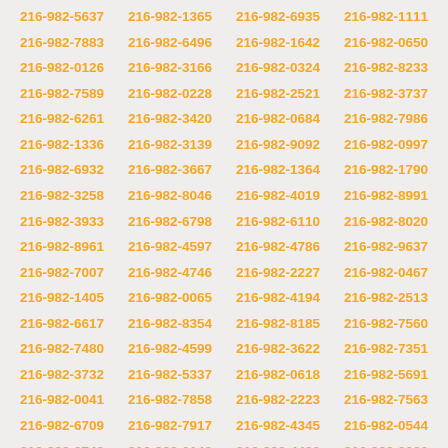216-982-5637 216-982-1365 216-982-6935 216-982-1111 216-982-7883 216-982-6496 216-982-1642 216-982-0650 216-982-0126 216-982-3166 216-982-0324 216-982-8233 216-982-7589 216-982-0228 216-982-2521 216-982-3737 216-982-6261 216-982-3420 216-982-0684 216-982-7986 216-982-1336 216-982-3139 216-982-9092 216-982-0997 216-982-6932 216-982-3667 216-982-1364 216-982-1790 216-982-3258 216-982-8046 216-982-4019 216-982-8991 216-982-3933 216-982-6798 216-982-6110 216-982-8020 216-982-8961 216-982-4597 216-982-4786 216-982-9637 216-982-7007 216-982-4746 216-982-2227 216-982-0467 216-982-1405 216-982-0065 216-982-4194 216-982-2513 216-982-6617 216-982-8354 216-982-8185 216-982-7560 216-982-7480 216-982-4599 216-982-3622 216-982-7351 216-982-3732 216-982-5337 216-982-0618 216-982-5691 216-982-0041 216-982-7858 216-982-2223 216-982-7563 216-982-6709 216-982-7917 216-982-4345 216-982-0544 216-982-3740 216-982-0148 216-982-4420 216-982-2020 216-982-2150 216-982-0836 216-982-6074 216-982-8518 216-982-9846 216-982-9753 216-982-1066 216-982-6649 216-982-5675 216-982-5735 216-982-3553 216-982-9660 216-982-9268 216-982-7881 216-982-3797 216-982-1717 216-982-1096 216-982-7672 216-982-7702 216-982-7321 216-982-0958 216-982-5955 216-982-4223 216-982-9485 216-982-3118 216-982-6734 216-982-2149 216-982-0908 216-982-3653 216-982-6430 216-982-8071 216-982-5407 216-982-8186 216-982-5418 216-982-0424 216-982-2595 216-982-0980 216-982-7553 216-982-0072 216-982-4918 216-982-8202 216-982-5564 216-982-2996 216-982-9232 216-982-2362 216-982-3859 216-982-7557 216-982-2536 216-982-1000 216-982-7704 216-982-4070 216-982-2411